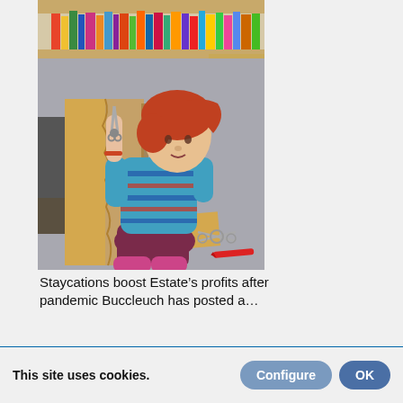[Figure (photo): A young red-haired toddler girl sitting on a grey carpeted floor in a library, wearing a striped teal/blue sweater and dark pink/maroon leggings with pink rubber boots, cutting or tearing open a large cardboard box with scissors. Scissors and a red crayon are visible on the floor nearby.]
Staycations boost Estate’s profits after pandemic Buccleuch has posted a…
This site uses cookies.